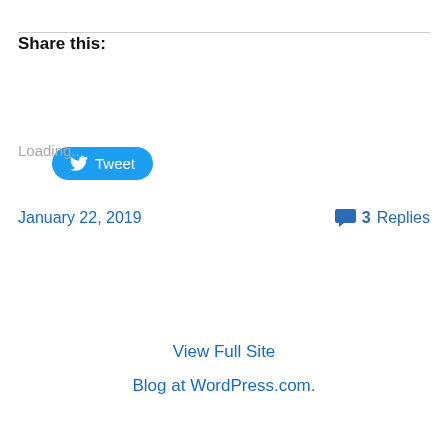Share this:
[Figure (other): Twitter Tweet button with bird logo]
Loading...
January 22, 2019
3 Replies
View Full Site
Blog at WordPress.com.